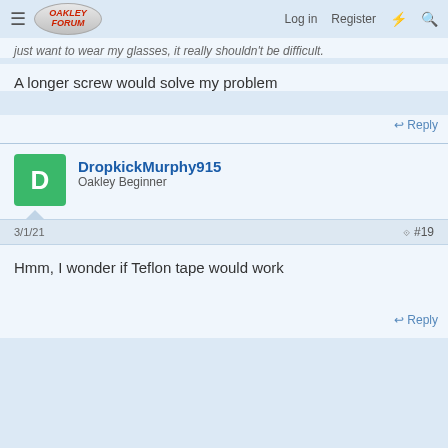Oakley Forum — Log in  Register
just want to wear my glasses, it really shouldn't be difficult.
A longer screw would solve my problem
Reply
DropkickMurphy915 — Oakley Beginner
3/1/21  #19
Hmm, I wonder if Teflon tape would work
Reply